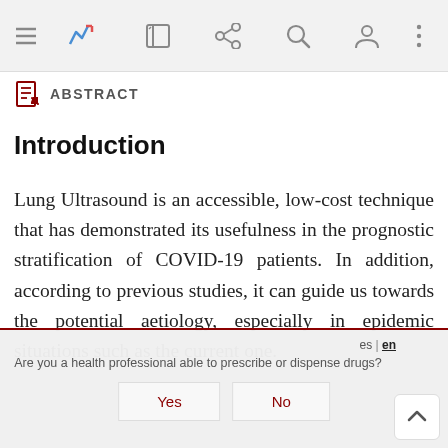[Navigation bar with menu, bookmark, edit, share, search, user, more icons]
ABSTRACT
Introduction
Lung Ultrasound is an accessible, low-cost technique that has demonstrated its usefulness in the prognostic stratification of COVID-19 patients. In addition, according to previous studies, it can guide us towards the potential aetiology, especially in epidemic situations such as the current one.
Are you a health professional able to prescribe or dispense drugs?
Yes   No